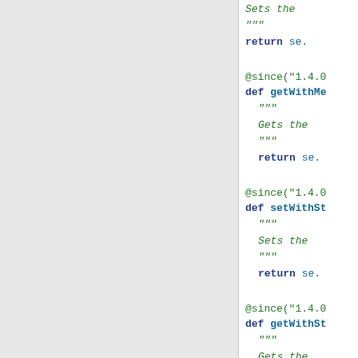[Figure (screenshot): Python source code page showing class method definitions with @since decorators, docstrings, and return statements. Left panel is gray (navigation/sidebar), right panel shows code.]